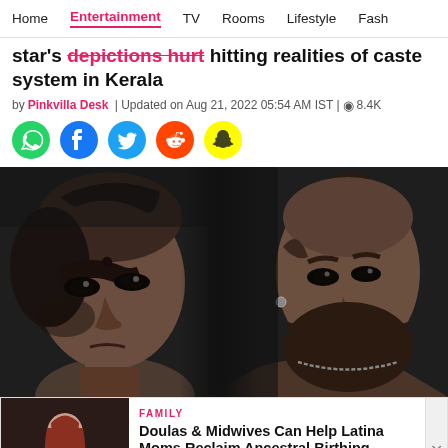Home | Entertainment | TV | Rooms | Lifestyle | Fash
star's [strikethrough: depictions hurt] hitting realities of caste system in Kerala
by Pinkvilla Desk | Updated on Aug 21, 2022 05:54 AM IST | 8.4K views
[Figure (infographic): Social media share icons: WhatsApp (green), Facebook (blue), Twitter (blue), Reddit (orange), Snapchat (yellow)]
[Figure (photo): Dramatic black and white close-up photo of two people: a woman on the left with a bindi and intense gaze, a bearded man on the right with a mohawk-style haircut and necklace, both looking fierce]
FAMILY - Doulas & Midwives Can Help Latina Moms Reclaim Ancestral Birthing Practices - READ MORE > - HipLATINA